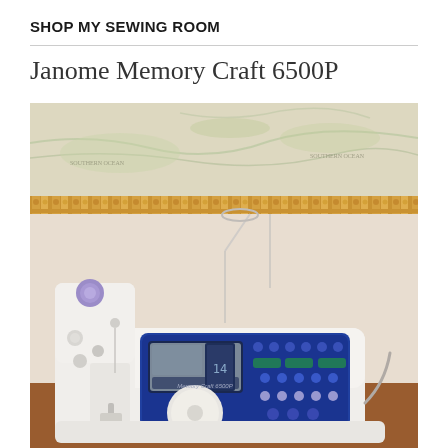SHOP MY SEWING ROOM
Janome Memory Craft 6500P
[Figure (photo): Photograph of a Janome Memory Craft 6500P sewing machine sitting on a wooden table in front of a wall decorated with a vintage world map wallpaper border. The machine is white and blue with a digital display, multiple stitch selector buttons, and the Janome logo on the front panel.]